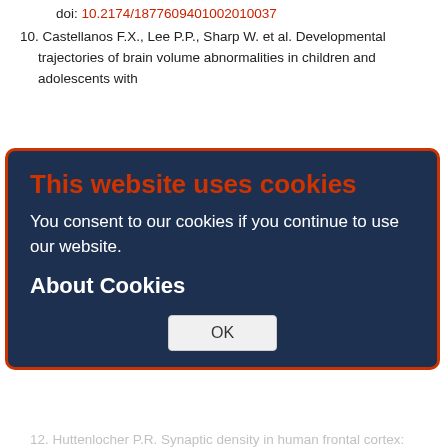doi: 10.2174/1877609401002010037
10. Castellanos F.X., Lee P.P., Sharp W. et al. Developmental trajectories of brain volume abnormalities in children and adolescents with attention-deficit/hyperactivity disorder. JAMA 2002; 288(14): 1740-8. doi: 10.1001/jama.288.14.1740 PMID: 12365958
11. Sowell E.R., Thompson P.M., Welcome S.E. et al. Cortical abnormalities in children and adolescents with attention-deficit hyperactivity disorder. Lancet 2003; 362: 1699-707. doi: 10.1016/S0140-6736(03)14842-8 PMID: 14643117
12. Huttenlocher P.R. Synaptic density in human frontal cortex: developmental changes and effects of aging. Brain Res. 1979; 163: 195-205. PMID: 427544
13. Giedd J.N., Snell J.W., Lange N. et al. Quantitative magnetic resonance imaging of human brain development: ages 4-18. Cereb. Cortex. 1996; 6: 551-560. PMID: 8670681 18. Abitz M., Nielsen R.D., Jones E.G. et al. Excess of neurons in the human
This website uses cookies
You consent to our cookies if you continue to use our website.
About Cookies
OK